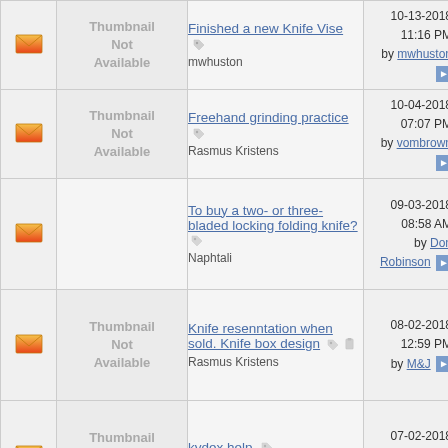| Icon | Thumbnail | Thread Title / Author | Last Post Date |
| --- | --- | --- | --- |
| [envelope icon] | Thumbnail Not Available | Finished a new Knife Vise
mwhuston | 10-13-2018 11:16 PM
by mwhuston |
| [envelope icon] | Thumbnail Not Available | Freehand grinding practice
Rasmus Kristens | 10-04-2018 07:07 PM
by vombrown |
| [envelope icon] |  | To buy a two- or three-bladed locking folding knife?
Naphtali | 09-03-2018 08:58 AM
by Don Robinson |
| [envelope icon] | Thumbnail Not Available | Knife resenntation when sold. Knife box design
Rasmus Kristens | 08-02-2018 12:59 PM
by M&J |
| [envelope icon] | Thumbnail Not Available | kydex help
dtec1 | 07-02-2018 02:39 PM
by M&J |